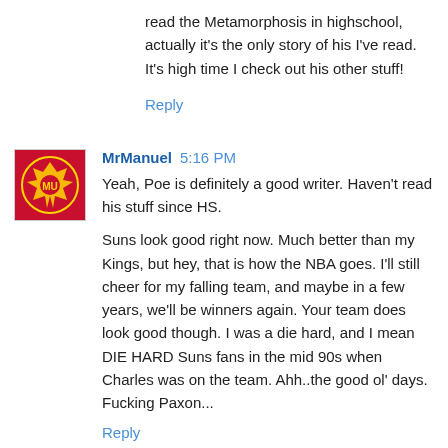read the Metamorphosis in highschool, actually it's the only story of his I've read. It's high time I check out his other stuff!
Reply
MrManuel  5:16 PM
Yeah, Poe is definitely a good writer. Haven't read his stuff since HS.

Suns look good right now. Much better than my Kings, but hey, that is how the NBA goes. I'll still cheer for my falling team, and maybe in a few years, we'll be winners again. Your team does look good though. I was a die hard, and I mean DIE HARD Suns fans in the mid 90s when Charles was on the team. Ahh..the good ol' days. Fucking Paxon...
Reply
fringes  6:58 PM